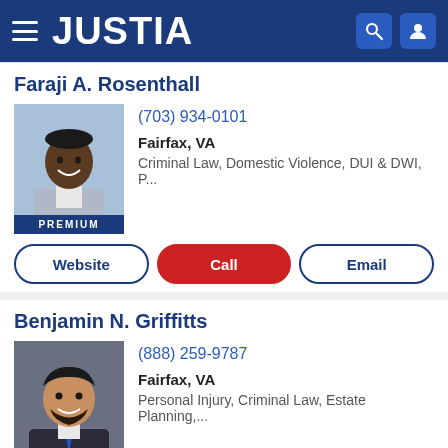JUSTIA
Faraji A. Rosenthall
(703) 934-0101
Fairfax, VA
Criminal Law, Domestic Violence, DUI & DWI, P...
Website | Call | Email
Benjamin N. Griffitts
(888) 259-9787
Fairfax, VA
Personal Injury, Criminal Law, Estate Planning,...
Website | Call | Email